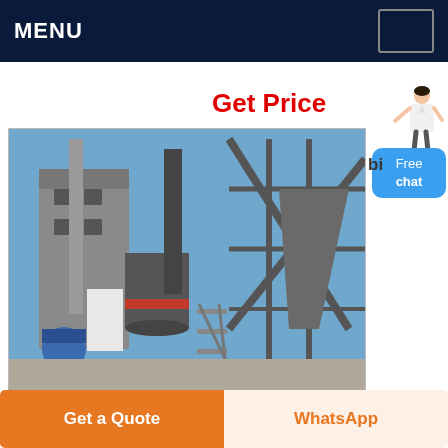MENU
Get Price
[Figure (photo): Industrial facility with large grinding/milling equipment, metal silos, conveyor structures, chimneys, and scaffolding against a blue sky. Heavy industrial machinery typical of a cement or mineral processing plant.]
Free chat
Get a Quote
WhatsApp